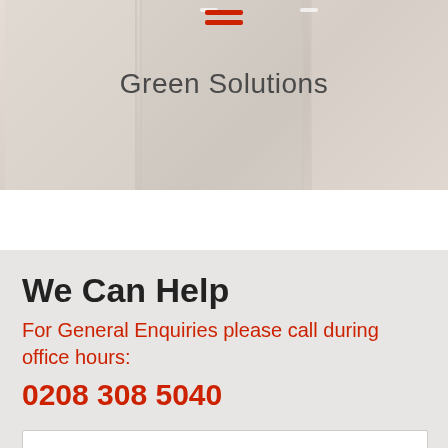[Figure (photo): Office interior with glass doors and panels, light background. Red hamburger/menu icon at top center.]
Green Solutions
We Can Help
For General Enquiries please call during office hours:
0208 308 5040